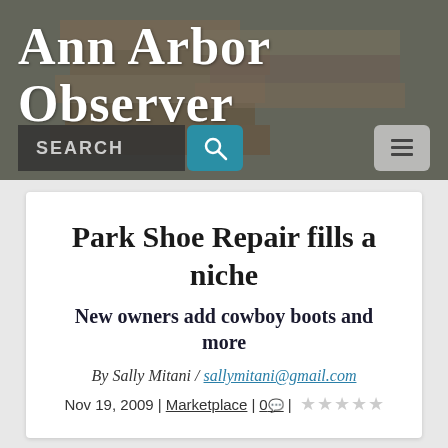[Figure (screenshot): Ann Arbor Observer website header with blurred background image of stacked wooden blocks/crates, showing site title in gothic font, search bar, and menu button]
Park Shoe Repair fills a niche
New owners add cowboy boots and more
By Sally Mitani / sallymitani@gmail.com
Nov 19, 2009 | Marketplace | 0 | ☆☆☆☆☆